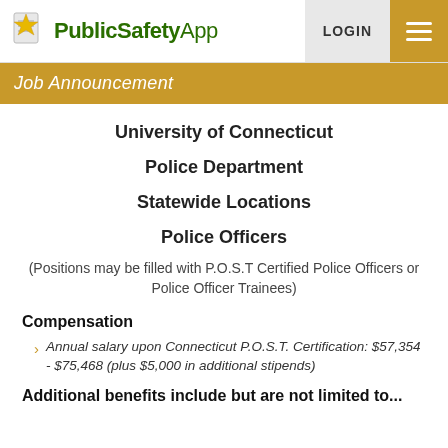PublicSafetyApp | LOGIN | Menu
Job Announcement
University of Connecticut
Police Department
Statewide Locations
Police Officers
(Positions may be filled with P.O.S.T Certified Police Officers or Police Officer Trainees)
Compensation
Annual salary upon Connecticut P.O.S.T. Certification: $57,354 - $75,468 (plus $5,000 in additional stipends)
Additional benefits include but are not limited to...